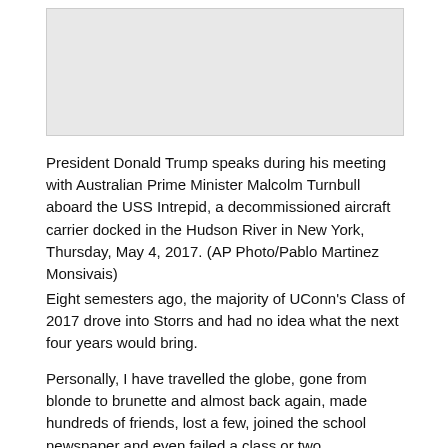[Figure (photo): Gray placeholder box representing an image of President Donald Trump speaking during his meeting with Australian Prime Minister Malcolm Turnbull aboard the USS Intrepid]
President Donald Trump speaks during his meeting with Australian Prime Minister Malcolm Turnbull aboard the USS Intrepid, a decommissioned aircraft carrier docked in the Hudson River in New York, Thursday, May 4, 2017. (AP Photo/Pablo Martinez Monsivais)
Eight semesters ago, the majority of UConn's Class of 2017 drove into Storrs and had no idea what the next four years would bring.
Personally, I have travelled the globe, gone from blonde to brunette and almost back again, made hundreds of friends, lost a few, joined the school newspaper and even failed a class or two.